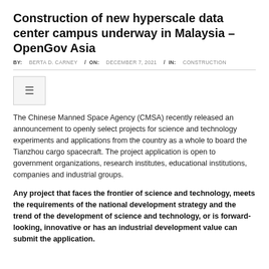Construction of new hyperscale data center campus underway in Malaysia – OpenGov Asia
BY:  BERTA D. CARNEY  /  ON:  DECEMBER 7, 2021  /  IN:  CONSTRUCTION
The Chinese Manned Space Agency (CMSA) recently released an announcement to openly select projects for science and technology experiments and applications from the country as a whole to board the Tianzhou cargo spacecraft. The project application is open to government organizations, research institutes, educational institutions, companies and industrial groups.
Any project that faces the frontier of science and technology, meets the requirements of the national development strategy and the trend of the development of science and technology, or is forward-looking, innovative or has an industrial development value can submit the application.